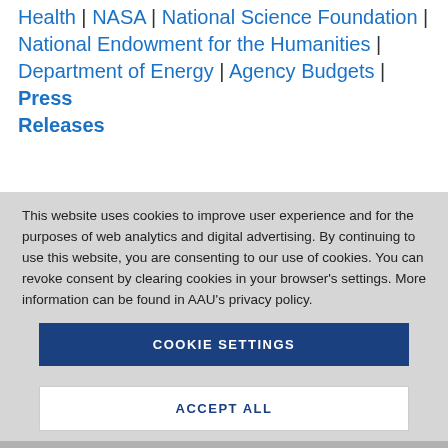Health | NASA | National Science Foundation | National Endowment for the Humanities | Department of Energy | Agency Budgets | Press Releases
This website uses cookies to improve user experience and for the purposes of web analytics and digital advertising. By continuing to use this website, you are consenting to our use of cookies. You can revoke consent by clearing cookies in your browser's settings. More information can be found in AAU's privacy policy.
COOKIE SETTINGS
ACCEPT ALL